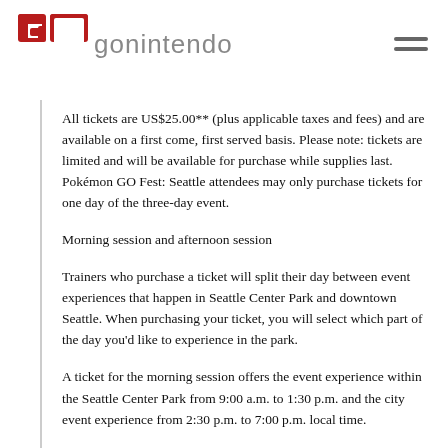gonintendo
All tickets are US$25.00** (plus applicable taxes and fees) and are available on a first come, first served basis. Please note: tickets are limited and will be available for purchase while supplies last. Pokémon GO Fest: Seattle attendees may only purchase tickets for one day of the three-day event.
Morning session and afternoon session
Trainers who purchase a ticket will split their day between event experiences that happen in Seattle Center Park and downtown Seattle. When purchasing your ticket, you will select which part of the day you'd like to experience in the park.
A ticket for the morning session offers the event experience within the Seattle Center Park from 9:00 a.m. to 1:30 p.m. and the city event experience from 2:30 p.m. to 7:00 p.m. local time.
A ticket for the afternoon session offers the city event experience from 9:00 a.m. to 1:30 p.m. and the park event experience from 2:30 p.m. to